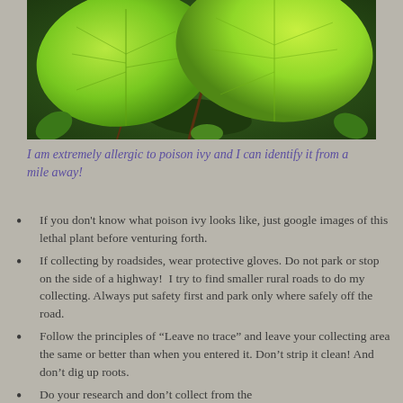[Figure (photo): Close-up photograph of large bright green leaves, likely poison ivy or similar plant, with dark green smaller plants in background]
I am extremely allergic to poison ivy and I can identify it from a mile away!
If you don't know what poison ivy looks like, just google images of this lethal plant before venturing forth.
If collecting by roadsides, wear protective gloves. Do not park or stop on the side of a highway!  I try to find smaller rural roads to do my collecting. Always put safety first and park only where safely off the road.
Follow the principles of “Leave no trace” and leave your collecting area the same or better than when you entered it. Don’t strip it clean! And don’t dig up roots.
Do your research and don’t collect from the